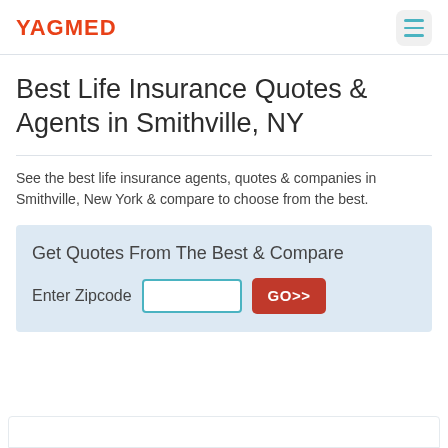YAGMED
Best Life Insurance Quotes & Agents in Smithville, NY
See the best life insurance agents, quotes & companies in Smithville, New York & compare to choose from the best.
Get Quotes From The Best & Compare
Enter Zipcode   [input]   GO>>